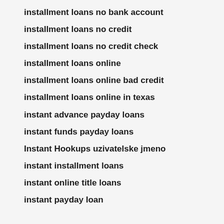installment loans no bank account
installment loans no credit
installment loans no credit check
installment loans online
installment loans online bad credit
installment loans online in texas
instant advance payday loans
instant funds payday loans
Instant Hookups uzivatelske jmeno
instant installment loans
instant online title loans
instant payday loan